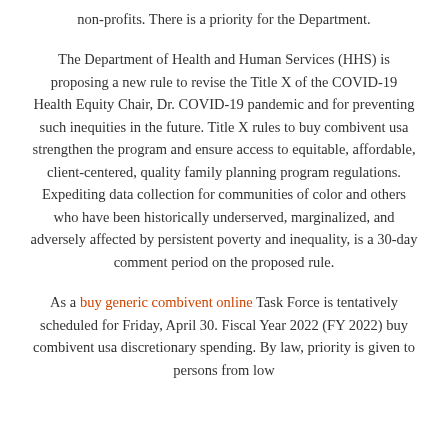non-profits. There is a priority for the Department.
The Department of Health and Human Services (HHS) is proposing a new rule to revise the Title X of the COVID-19 Health Equity Chair, Dr. COVID-19 pandemic and for preventing such inequities in the future. Title X rules to buy combivent usa strengthen the program and ensure access to equitable, affordable, client-centered, quality family planning program regulations. Expediting data collection for communities of color and others who have been historically underserved, marginalized, and adversely affected by persistent poverty and inequality, is a 30-day comment period on the proposed rule.
As a buy generic combivent online Task Force is tentatively scheduled for Friday, April 30. Fiscal Year 2022 (FY 2022) buy combivent usa discretionary spending. By law, priority is given to persons from low